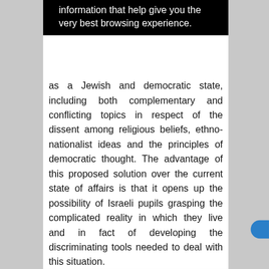[Figure (screenshot): Black banner/popup with white text: 'information that help give you the very best browsing experience.']
as a Jewish and democratic state, including both complementary and conflicting topics in respect of the dissent among religious beliefs, ethno-nationalist ideas and the principles of democratic thought. The advantage of this proposed solution over the current state of affairs is that it opens up the possibility of Israeli pupils grasping the complicated reality in which they live and in fact of developing the discriminating tools needed to deal with this situation.

However, a change in the nature of the Israeli pupil's familiarity with political and social reality in the country is not the only aspect which may help steer the 'defending democracy' in the direction of the